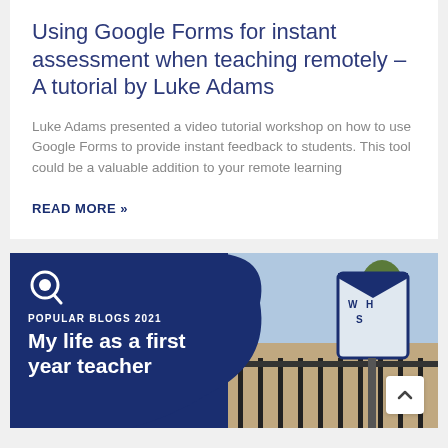Using Google Forms for instant assessment when teaching remotely – A tutorial by Luke Adams
Luke Adams presented a video tutorial workshop on how to use Google Forms to provide instant feedback to students. This tool could be a valuable addition to your remote learning
READ MORE »
[Figure (photo): Dark blue card with logo icon, 'POPULAR BLOGS 2021' label, headline 'My life as a first year teacher', and a photo of a school entrance sign on the right side with a scroll-to-top button]